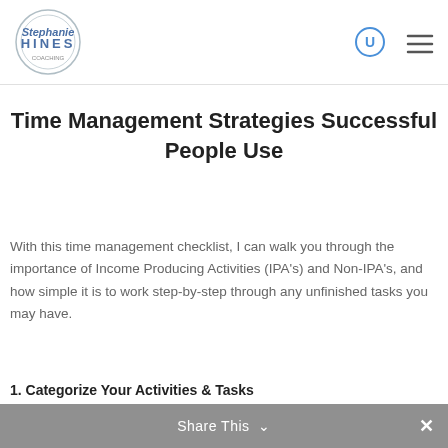Stephanie Hines Coaching — logo, search icon, menu icon
Time Management Strategies Successful People Use
With this time management checklist, I can walk you through the importance of Income Producing Activities (IPA's) and Non-IPA's, and how simple it is to work step-by-step through any unfinished tasks you may have.
Share This ∨  ✕
1. Categorize Your Activities & Tasks